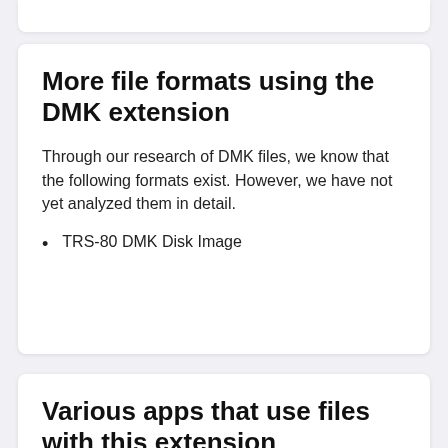More file formats using the DMK extension
Through our research of DMK files, we know that the following formats exist. However, we have not yet analyzed them in detail.
TRS-80 DMK Disk Image
Various apps that use files with this extension
These apps are known to open certain types of